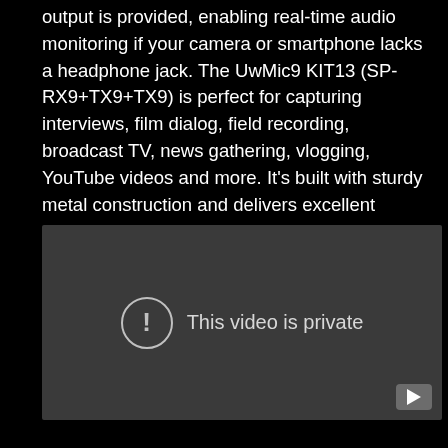output is provided, enabling real-time audio monitoring if your camera or smartphone lacks a headphone jack. The UwMic9 KIT13 (SP-RX9+TX9+TX9) is perfect for capturing interviews, film dialog, field recording, broadcast TV, news gathering, vlogging, YouTube videos and more. It's built with sturdy metal construction and delivers excellent sound quality in a low-cost package. It's ultra-compact, lightweight, and easy to bring with you everywhere.
[Figure (screenshot): Embedded video player showing 'This video is private' message with a circular exclamation icon on a dark gray background, with a YouTube logo in the bottom right corner.]